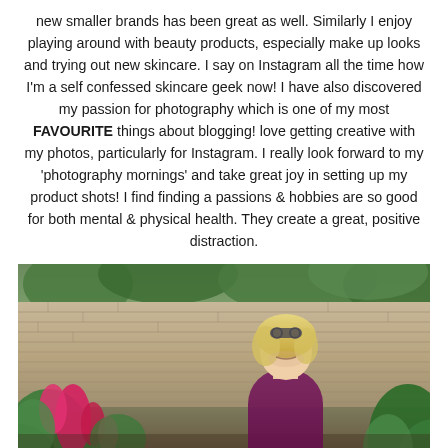new smaller brands has been great as well. Similarly I enjoy playing around with beauty products, especially make up looks and trying out new skincare. I say on Instagram all the time how I'm a self confessed skincare geek now! I have also discovered my passion for photography which is one of my most FAVOURITE things about blogging! love getting creative with my photos, particularly for Instagram. I really look forward to my 'photography mornings' and take great joy in setting up my product shots! I find finding a passions & hobbies are so good for both mental & physical health. They create a great, positive distraction.
[Figure (photo): A blonde woman wearing a purple/dark pink top and sunglasses on her head, photographed outdoors in a garden with a stone brick wall behind her and colourful flowers including bright pink/red blooms in the foreground.]